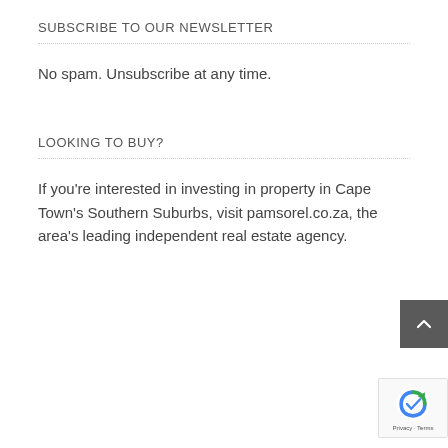SUBSCRIBE TO OUR NEWSLETTER
No spam. Unsubscribe at any time.
LOOKING TO BUY?
If you're interested in investing in property in Cape Town's Southern Suburbs, visit pamsorel.co.za, the area's leading independent real estate agency.